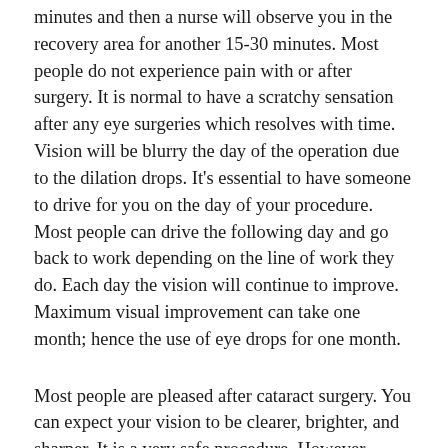minutes and then a nurse will observe you in the recovery area for another 15-30 minutes. Most people do not experience pain with or after surgery. It is normal to have a scratchy sensation after any eye surgeries which resolves with time. Vision will be blurry the day of the operation due to the dilation drops. It’s essential to have someone to drive for you on the day of your procedure. Most people can drive the following day and go back to work depending on the line of work they do. Each day the vision will continue to improve. Maximum visual improvement can take one month; hence the use of eye drops for one month.
Most people are pleased after cataract surgery. You can expect your vision to be clearer, brighter, and sharper. It is a very safe procedure. However, every operation has its risks. Deterioration or loss of eyesight is extremely rare and unlikely to occur. Some people can encounter higher risks of outcomes during their procedure of